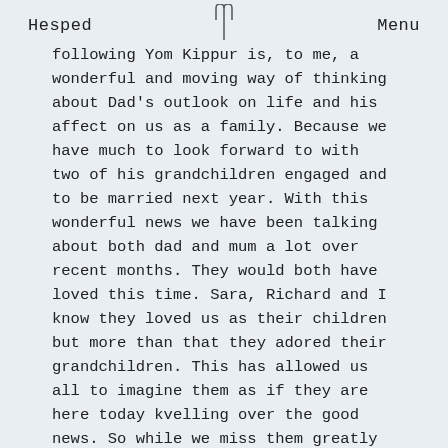Hesped    Menu
following Yom Kippur is, to me, a wonderful and moving way of thinking about Dad's outlook on life and his affect on us as a family. Because we have much to look forward to with two of his grandchildren engaged and to be married next year. With this wonderful news we have been talking about both dad and mum a lot over recent months. They would both have loved this time. Sara, Richard and I know they loved us as their children but more than that they adored their grandchildren. This has allowed us all to imagine them as if they are here today kvelling over the good news. So while we miss them greatly we know that both our parents are with us today, looking forward to the future with us and continuing with their love